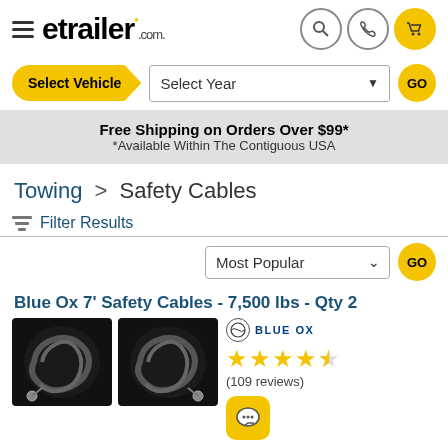etrailer.com
Select Vehicle | Select Year | GO
Free Shipping on Orders Over $99* *Available Within The Contiguous USA
Towing > Safety Cables
Filter Results
Most Popular | GO
Blue Ox 7' Safety Cables - 7,500 lbs - Qty 2
Blue Ox (109 reviews)